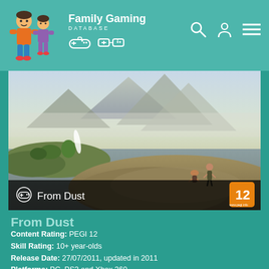Family Gaming Database
[Figure (screenshot): Game screenshot for From Dust showing two figures standing on rocky terrain with mountains and water in background, with PEGI 12 rating badge]
From Dust
Content Rating: PEGI 12
Skill Rating: 10+ year-olds
Release Date: 27/07/2011, updated in 2011
Platforms: PC, PS3 and Xbox 360
Genres: Adventure, Narrative, Simulation and Strategy
Developer: Ubisoft (@Ubisoft)
Players: This is a single-player game